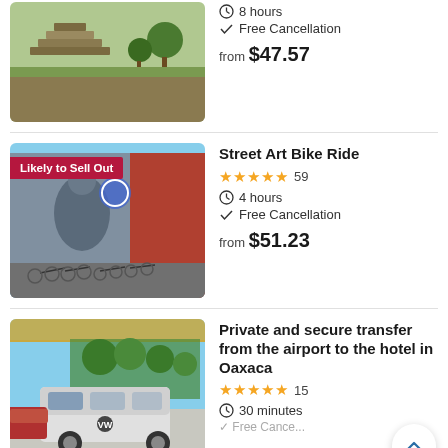[Figure (photo): Aerial view of ancient ruins/pyramids with green grass and trees]
8 hours
Free Cancellation
from $47.57
[Figure (photo): Street mural with bikes parked in front, tagged 'Likely to Sell Out']
Street Art Bike Ride
59 reviews, 4 hours, Free Cancellation, from $51.23
[Figure (photo): White VW van in a parking lot with trees and other cars]
Private and secure transfer from the airport to the hotel in Oaxaca
15 reviews, 30 minutes, Free Cancellation